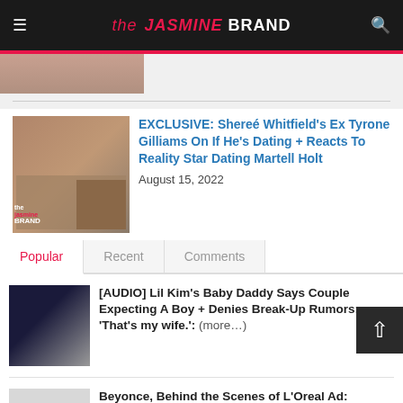the JASMINE BRAND
[Figure (photo): Top partial image strip showing a person's face]
EXCLUSIVE: Shereé Whitfield's Ex Tyrone Gilliams On If He's Dating + Reacts To Reality Star Dating Martell Holt
August 15, 2022
Popular | Recent | Comments
[AUDIO] Lil Kim's Baby Daddy Says Couple Expecting A Boy + Denies Break-Up Rumors: 'That's my wife.': (more…)
Beyonce, Behind the Scenes of L'Oreal Ad: Most days, I can never get enough of Beyonce. Here's…
Basketball Wives' Tami Roman Returns to Twitter…